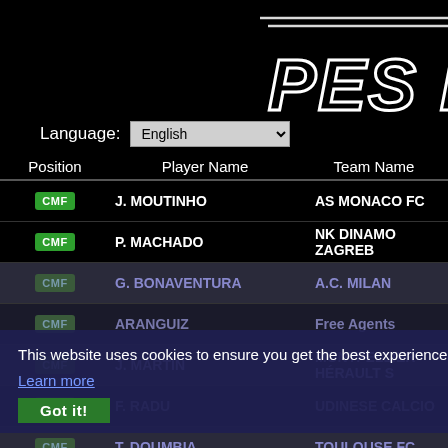[Figure (logo): PES Database logo in white italic bold font on black background with decorative lines]
Language: English
| Position | Player Name | Team Name |
| --- | --- | --- |
| CMF | J. MOUTINHO | AS MONACO FC |
| CMF | P. MACHADO | NK DINAMO ZAGREB |
| CMF | G. BONAVENTURA | A.C. MILAN |
| CMF | ARANGUIZ | Free Agents |
| CMF | J. MARTIN | MONTPELLIER HERAULT S |
| CMF | F. RADU | UDINESE CALCIO |
| CMF | T. DOUMBIA | TOULOUSE FC |
| CMF | D. DRINKWATER | EAST MIDLANDS |
| CMF | J. DELAPLACE | STADE MALHERBE CAEN |
| CMF | L. STINDL | BORUSSIA MG |
| CMF | O. SHATOV | FC ZENIT ST PETERSBUR |
This website uses cookies to ensure you get the best experience on our website.
Learn more
Got it!